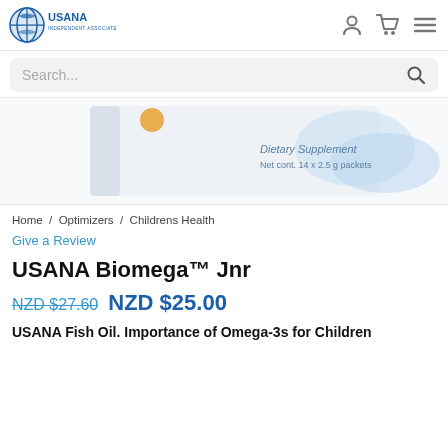USANA Independent Associate
Search...
[Figure (photo): USANA Biomega Jnr product box showing 'Dietary Supplement, Net cont. 14 x 2.5 g packets' on a white background with blue and orange accents]
Home / Optimizers / Childrens Health
Give a Review
USANA Biomega™ Jnr
NZD $27.60  NZD $25.00
USANA Fish Oil. Importance of Omega-3s for Children